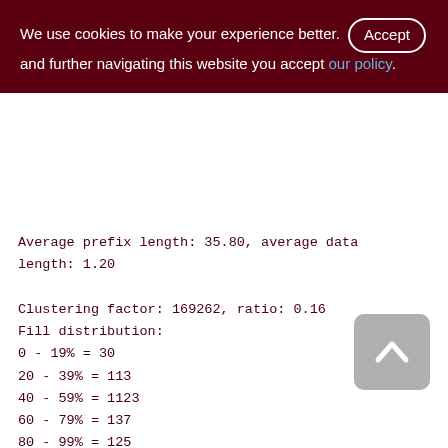We use cookies to make your experience better. By accepting and further navigating this website you accept our policy.
Ratio: 11:11
Average prefix length: 35.80, average data length: 1.20
Clustering factor: 169262, ratio: 0.16
Fill distribution:
0 - 19% = 30
20 - 39% = 113
40 - 59% = 1123
60 - 79% = 137
80 - 99% = 125
XQD_1200_2000 (260)
Primary pointer page: 705, Index root page: